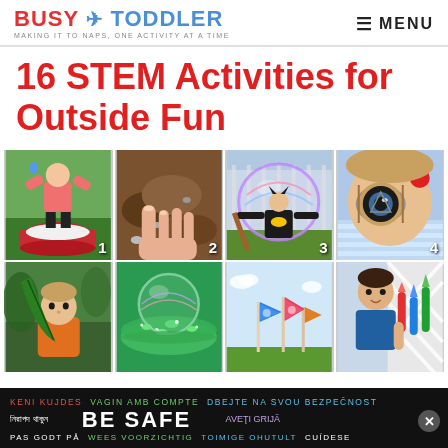BUSY TODDLER — MAKING IT TO NAPS, ONE ACTIVITY AT A TIME | MENU
16 STEM Activities for Outside Fun
[Figure (photo): Grid of 8 photos showing children doing outdoor STEM activities: 1. girl with water bin, 2. hands in dirt/mud, 3. boy with giant bubble, 4. child looking through cardboard tube, 5. child with leaf, 6. bubble on glitter water, 7. flag wind activity, 8. boy with rockets/tubes]
[Figure (screenshot): Safety advertisement banner: KENI KUJDES, VAGIN AMB COMPTE, DBEJTE NA SVOU BEZPECNOST, BE SAFE, AVETI GRIJA, PAS GODT PA, WEES VOORZICHTIG, TOIMIGE OHUTULT, CUIDESE]